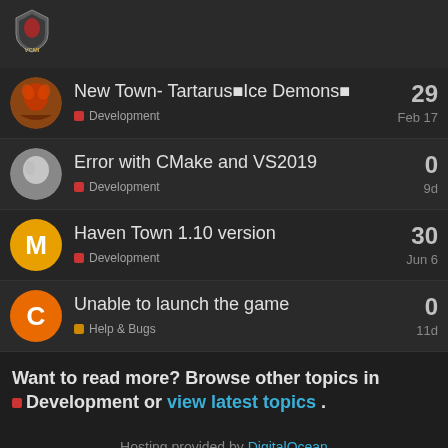[Figure (logo): VCMI logo - shield icon with text VCMI]
New Town- Tartarus■Ice Demons■ | Development | 29 | Feb 17
Error with CMake and VS2019 | Development | 0 | 9d
Haven Town 1.10 version | Development | 30 | Jun 6
Unable to launch the game | Help & Bugs | 0 | 11d
Want to read more? Browse other topics in Development or view latest topics.
Hosting provided by DigitalOcean